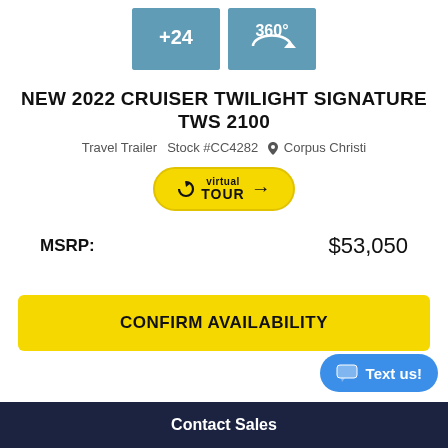[Figure (photo): Two image thumbnails: one showing '+24' overlay on an interior photo, another showing '360°' view icon on an interior photo]
NEW 2022 CRUISER TWILIGHT SIGNATURE TWS 2100
Travel Trailer  Stock #CC4282  Corpus Christi
[Figure (logo): Virtual Tour badge - yellow rounded rectangle with 'virtual TOUR' text and arrow]
MSRP:  $53,050
CONFIRM AVAILABILITY
Text us!
Contact Sales